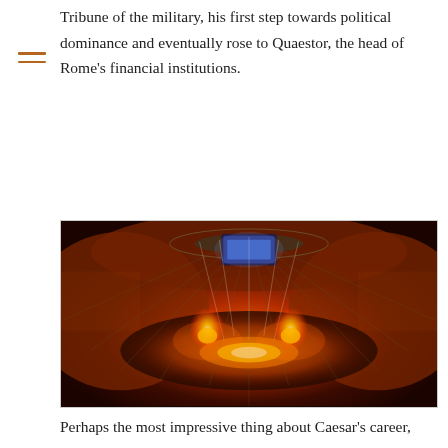Tribune of the military, his first step towards political dominance and eventually rose to Quaestor, the head of Rome's financial institutions.
[Figure (photo): Aerial view of a large indoor arena filled with spectators during a dramatic nighttime event with fire pyrotechnics on the floor and light beams radiating from the ceiling.]
Perhaps the most impressive thing about Caesar's career, was his ability to turn every disadvantage to his advantage. He was practically a nobody, yet made his name known